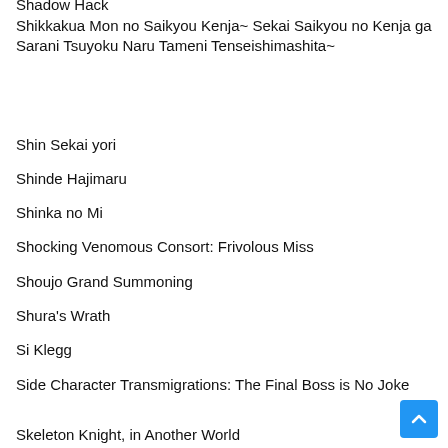Shadow Hack
Shikkakua Mon no Saikyou Kenja~ Sekai Saikyou no Kenja ga Sarani Tsuyoku Naru Tameni Tenseishimashita~
Shin Sekai yori
Shinde Hajimaru
Shinka no Mi
Shocking Venomous Consort: Frivolous Miss
Shoujo Grand Summoning
Shura's Wrath
Si Klegg
Side Character Transmigrations: The Final Boss is No Joke
Skeleton Knight, in Another World